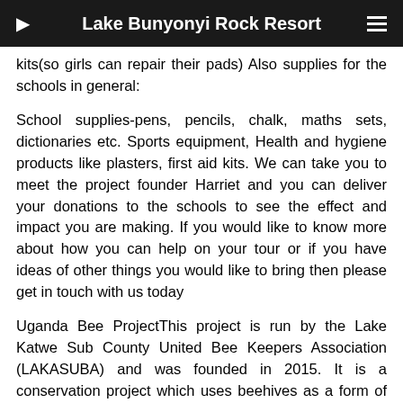Lake Bunyonyi Rock Resort
kits(so girls can repair their pads) Also supplies for the schools in general:
School supplies-pens, pencils, chalk, maths sets, dictionaries etc. Sports equipment, Health and hygiene products like plasters, first aid kits. We can take you to meet the project founder Harriet and you can deliver your donations to the schools to see the effect and impact you are making. If you would like to know more about how you can help on your tour or if you have ideas of other things you would like to bring then please get in touch with us today
Uganda Bee ProjectThis project is run by the Lake Katwe Sub County United Bee Keepers Association (LAKASUBA) and was founded in 2015. It is a conservation project which uses beehives as a form of human-wildlife conflict mitigation. The project is situated around the Queen Elizabeth National